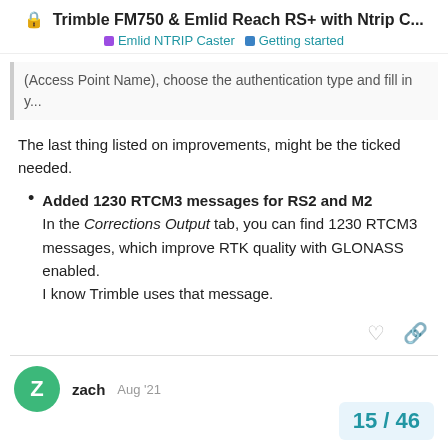Trimble FM750 & Emlid Reach RS+ with Ntrip C...
Emlid NTRIP Caster   Getting started
(Access Point Name), choose the authentication type and fill in y...
The last thing listed on improvements, might be the ticked needed.
Added 1230 RTCM3 messages for RS2 and M2
In the Corrections Output tab, you can find 1230 RTCM3 messages, which improve RTK quality with GLONASS enabled.
I know Trimble uses that message.
zach
Aug '21
15 / 46